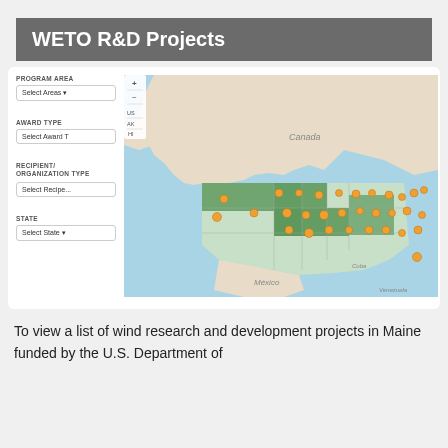WETO R&D Projects
[Figure (screenshot): Interactive web map showing WETO R&D projects across North America with filter controls for Program Area, Award Type, Recipient/Organization Type, and State on the left and a geographic map with orange location pins concentrated in the United States.]
To view a list of wind research and development projects in Maine funded by the U.S. Department of